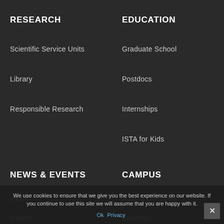RESEARCH
Scientific Service Units
Library
Responsible Research
EDUCATION
Graduate School
Postdocs
Internships
ISTA for Kids
NEWS & EVENTS
News
Events
Newsletter
CAMPUS
How to Get Here
Buildings
Food Services
Housing
We use cookies to ensure that we give you the best experience on our website. If you continue to use this site we will assume that you are happy with it.
Ok   Privacy